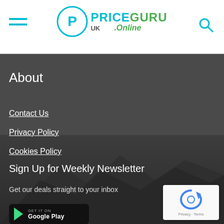PriceGuru UK Online - navigation header with hamburger menu and search icon
About
Contact Us
Privacy Policy
Cookies Policy
Sign Up for Weekly Newsletter
Get our deals straight to your inbox